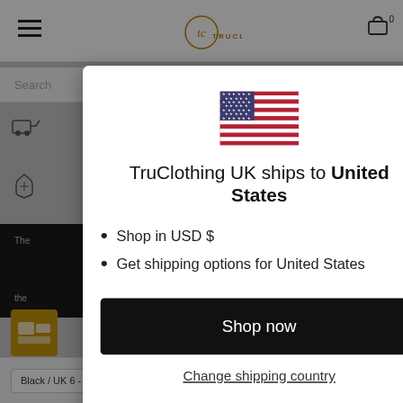[Figure (screenshot): TruClothing UK website background with header, search bar, and icons visible behind a modal overlay]
TruClothing UK ships to United States
Shop in USD $
Get shipping options for United States
Shop now
Change shipping country